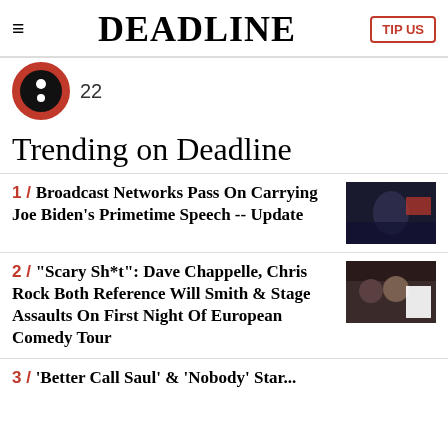DEADLINE | TIP US
[Figure (logo): Circular icon with red border and white dots, with number 22 next to it]
Trending on Deadline
1 / Broadcast Networks Pass On Carrying Joe Biden's Primetime Speech -- Update
2 / "Scary Sh*t": Dave Chappelle, Chris Rock Both Reference Will Smith & Stage Assaults On First Night Of European Comedy Tour
3 / 'Better Call Saul' & 'Nobody' Star...